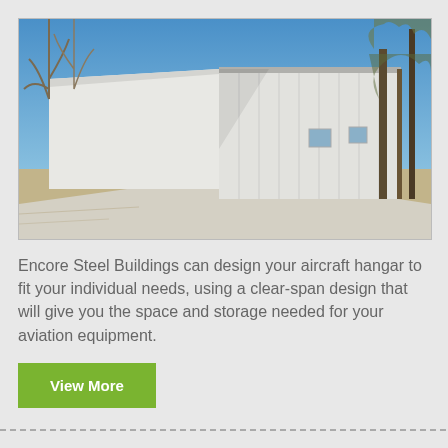[Figure (photo): Outdoor photo of a large white metal/steel hangar building with vertical panel siding, surrounded by bare winter trees under a clear blue sky. A concrete apron or driveway is visible in the foreground.]
Encore Steel Buildings can design your aircraft hangar to fit your individual needs, using a clear-span design that will give you the space and storage needed for your aviation equipment.
View More